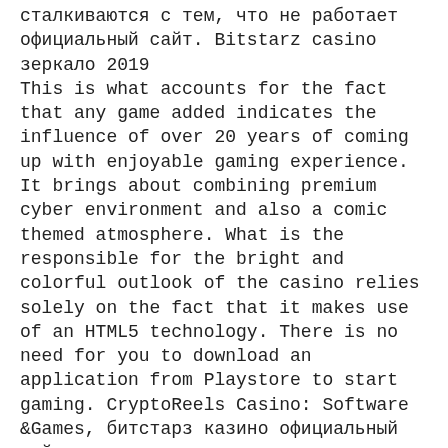сталкиваются с тем, что не работает официальный сайт. Bitstarz casino зеркало 2019
This is what accounts for the fact that any game added indicates the influence of over 20 years of coming up with enjoyable gaming experience. It brings about combining premium cyber environment and also a comic themed atmosphere. What is the responsible for the bright and colorful outlook of the casino relies solely on the fact that it makes use of an HTML5 technology. There is no need for you to download an application from Playstore to start gaming. CryptoReels Casino: Software &Games, битстарз казино официальный сайт зеркало.
Bitcoin casino winners:
Blast! Boom! Bang! - 10.2 ltc
Number One Slot - 120.1 dog
Zodiac - 152.5 dog